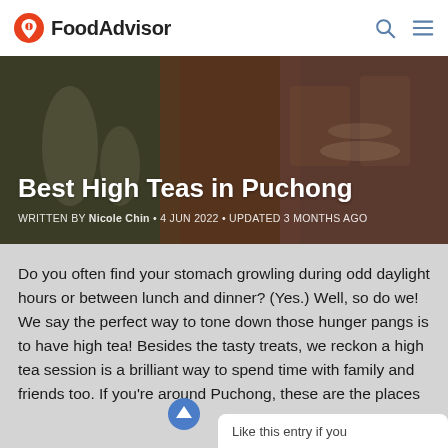FoodAdvisor
[Figure (photo): Hero image showing high tea spread with pastries, desserts, glasses, and food items on a tiered stand. Overlay text reads 'Best High Teas in Puchong'.]
Best High Teas in Puchong
WRITTEN BY Nicole Chin • 4 JUN 2022 • Updated 3 months ago
Do you often find your stomach growling during odd daylight hours or between lunch and dinner? (Yes.) Well, so do we! We say the perfect way to tone down those hunger pangs is to have high tea! Besides the tasty treats, we reckon a high tea session is a brilliant way to spend time with family and friends too. If you're around Puchong, these are the places you can have the best high tea in the area.
Like this entry if you